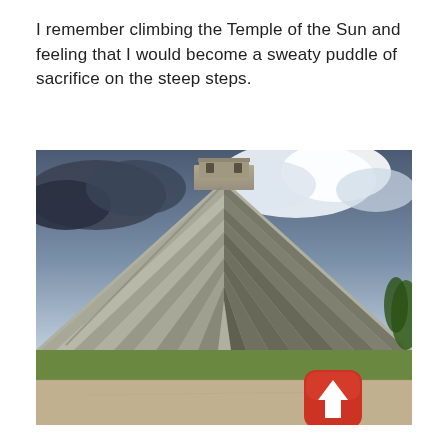I remember climbing the Temple of the Sun and feeling that I would become a sweaty puddle of sacrifice on the steep steps.
[Figure (photo): Photograph of El Castillo (Kukulcan pyramid) at Chichen Itza, Mexico. A large stepped Mayan pyramid of grey stone dominates the frame under a dramatic cloudy sky. Green grass is visible at the base. A red rounded-square icon with a white upward arrow (emoji) is overlaid in the bottom-right corner of the photo.]